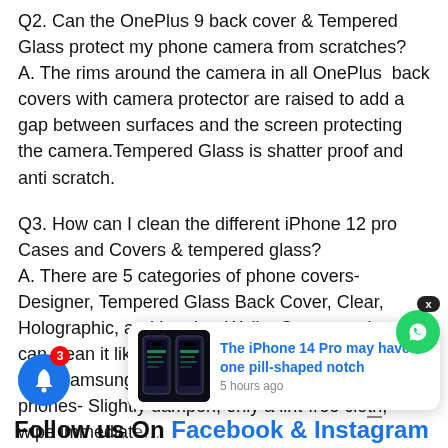Q2. Can the OnePlus 9 back cover & Tempered Glass protect my phone camera from scratches?
A. The rims around the camera in all OnePlus back covers with camera protector are raised to add a gap between surfaces and the screen protecting the camera.Tempered Glass is shatter proof and anti scratch.
Q3. How can I clean the different iPhone 12 pro Cases and Covers & tempered glass?
A. There are 5 categories of phone covers- Designer, Tempered Glass Back Cover, Clear, Holographic, and Leather Wallet Covers and you can clean it like you iPhone recommends cleaning their Samsung mobile phones- Slightly dampen, only a lint-free cloth, wipe immediately, w...contami...
[Figure (screenshot): WhatsApp notification icon (green circle with phone icon) with an X dismiss button, overlapping a news notification card showing iPhone image and text 'The iPhone 14 Pro may have one pill-shaped notch 5 hours ago', and a blue bell notification circle with badge '3']
Follow us On Facebook & Instagram